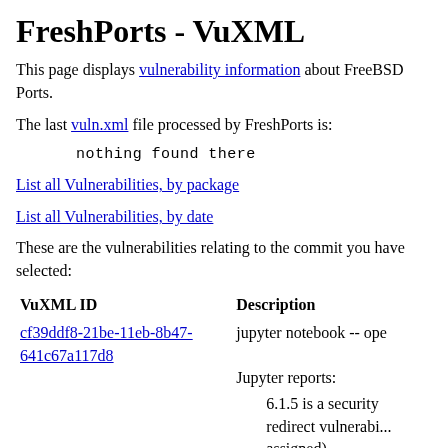FreshPorts - VuXML
This page displays vulnerability information about FreeBSD Ports.
The last vuln.xml file processed by FreshPorts is:
nothing found there
List all Vulnerabilities, by package
List all Vulnerabilities, by date
These are the vulnerabilities relating to the commit you have selected:
| VuXML ID | Description |
| --- | --- |
| cf39ddf8-21be-11eb-8b47-641c67a117d8 | jupyter notebook -- ope...
Jupyter reports:

6.1.5 is a security redirect vulnerabi... assigned) |